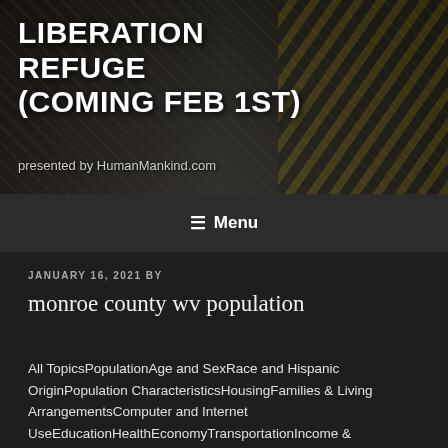LIBERATION REFUGE (COMING FEB 1ST)
presented by HumanMankind.com
≡ Menu
JANUARY 16, 2021 BY
monroe county wv population
All TopicsPopulationAge and SexRace and Hispanic OriginPopulation CharacteristicsHousingFamilies & Living ArrangementsComputer and Internet UseEducationHealthEconomyTransportationIncome & PovertyBusinessesGeography. Monroe County is 18th in West Virginia out of 55 other counties in Income per household. Category: Counties > Monroe County, WV. 24